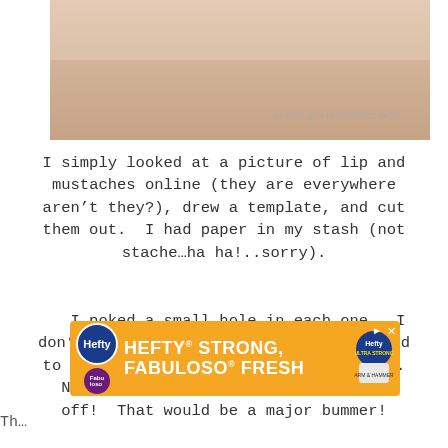[Figure (photo): Close-up photo of skin/lip area with text overlay reading 'prairie girl to southern belle' in light gray italic font in the lower right corner]
I simply looked at a picture of lip and mustaches online (they are everywhere aren’t they?), drew a template, and cut them out.  I had paper in my stash (not stache…ha ha!..sorry).
I poked a small hole in each one.  I don’t have a small hole punch and wanted to be sure the sucker sticks would fit.  No one wants their mustache to slide off!  That would be a major bummer!
[Figure (photo): Advertisement banner for Hefty Strong and Fabuloso Fresh products with orange background]
Th...                                                                          ly...